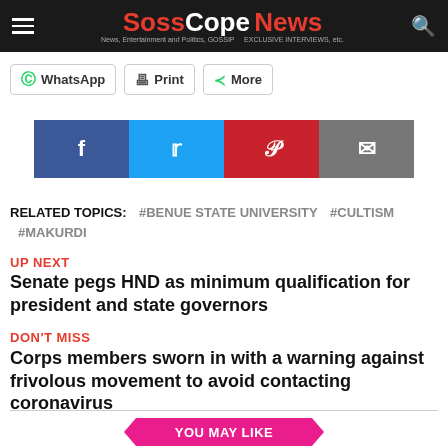SossCope News
[Figure (screenshot): Social share buttons: WhatsApp, Print, More]
[Figure (infographic): Social media icon buttons: Facebook, Twitter, Pinterest, Email]
RELATED TOPICS: #BENUE STATE UNIVERSITY #CULTISM #MAKURDI
UP NEXT
Senate pegs HND as minimum qualification for president and state governors
DON'T MISS
Corps members sworn in with a warning against frivolous movement to avoid contacting coronavirus
YOU MAY LIKE